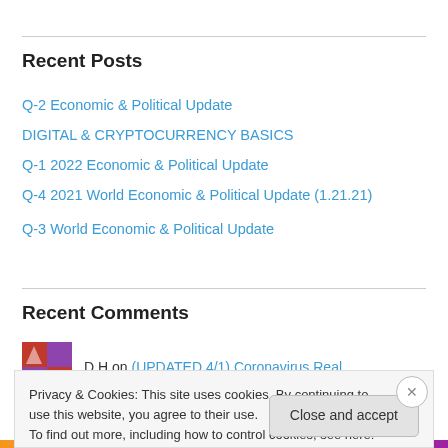Recent Posts
Q-2 Economic & Political Update
DIGITAL & CRYPTOCURRENCY BASICS
Q-1 2022 Economic & Political Update
Q-4 2021 World Economic & Political Update (1.21.21)
Q-3 World Economic & Political Update
Recent Comments
D H on (UPDATED 4/1) Coronavirus Real…
Privacy & Cookies: This site uses cookies. By continuing to use this website, you agree to their use.
To find out more, including how to control cookies, see here: Cookie Policy
Close and accept